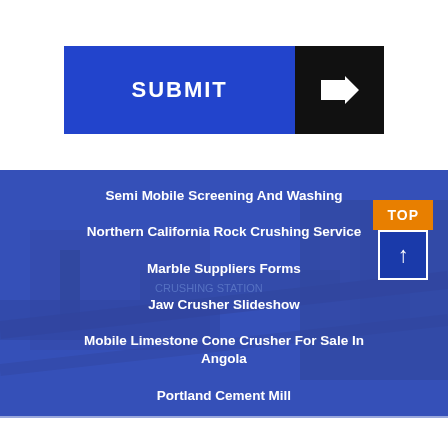[Figure (other): Submit button with blue left section labeled SUBMIT and black right section with white arrow pointing right]
[Figure (photo): Industrial rock crushing/screening machinery station with blue color overlay, showing conveyor belts and processing equipment]
Semi Mobile Screening And Washing
Northern California Rock Crushing Service
Marble Suppliers Forms
Jaw Crusher Slideshow
Mobile Limestone Cone Crusher For Sale In Angola
Portland Cement Mill